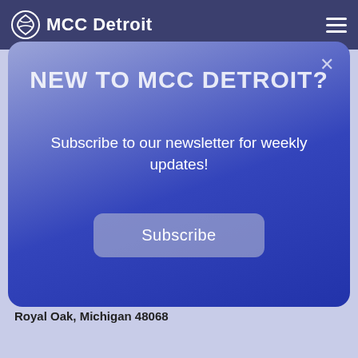MCC Detroit
extends into April or beyond, we will continue to provide online worship and maintain our pastoral care outreach.
[Figure (screenshot): Modal popup dialog with blue/purple gradient background. Title: NEW TO MCC DETROIT? Subtitle: Subscribe to our newsletter for weekly updates! Subscribe button.]
1. Send a check or money order to MCC Detroit:
MCC Detroit Treasurer
PO Box 836
Royal Oak, Michigan 48068